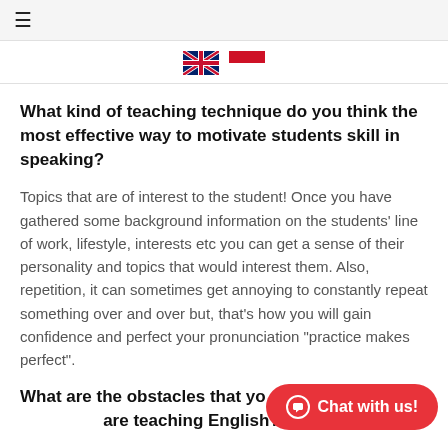≡
[Figure (illustration): UK flag and Indonesian flag icons side by side for language selection]
What kind of teaching technique do you think the most effective way to motivate students skill in speaking?
Topics that are of interest to the student! Once you have gathered some background information on the students' line of work, lifestyle, interests etc you can get a sense of their personality and topics that would interest them. Also, repetition, it can sometimes get annoying to constantly repeat something over and over but, that's how you will gain confidence and perfect your pronunciation "practice makes perfect".
What are the obstacles that you are teaching English?